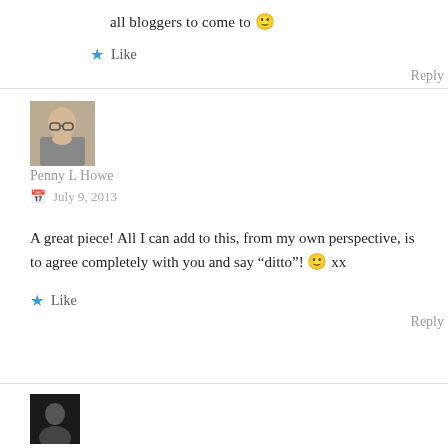all bloggers to come to 🙂
★ Like
Reply
[Figure (photo): Small avatar photo of Penny L Howe, a person with glasses resting chin on hand]
Penny L Howe
📅 July 9, 2013
A great piece! All I can add to this, from my own perspective, is to agree completely with you and say “ditto”! 🙂 xx
★ Like
Reply
[Figure (photo): Small dark avatar thumbnail at bottom of page]